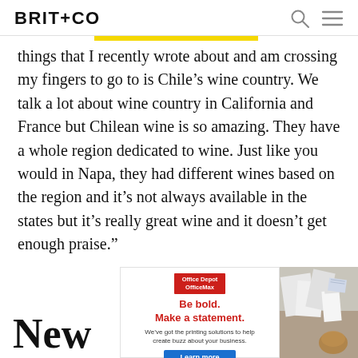BRIT+CO
things that I recently wrote about and am crossing my fingers to go to is Chile’s wine country. We talk a lot about wine country in California and France but Chilean wine is so amazing. They have a whole region dedicated to wine. Just like you would in Napa, they had different wines based on the region and it’s not always available in the states but it’s really great wine and it doesn’t get enough praise.”
[Figure (other): Office Depot OfficeMax advertisement banner: red logo, bold red text 'Be bold. Make a statement.', subtext 'We've got the printing solutions to help create buzz about your business.', blue 'Learn more' button, and a photo of papers/bags on a table.]
New